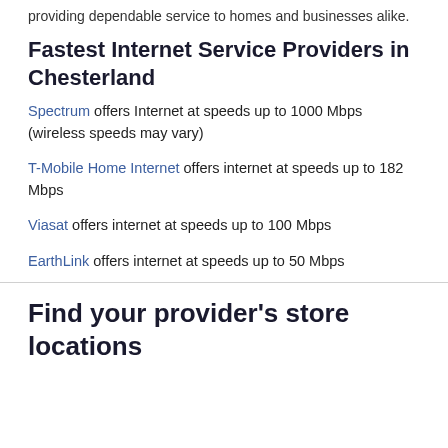providing dependable service to homes and businesses alike.
Fastest Internet Service Providers in Chesterland
Spectrum offers Internet at speeds up to 1000 Mbps (wireless speeds may vary)
T-Mobile Home Internet offers internet at speeds up to 182 Mbps
Viasat offers internet at speeds up to 100 Mbps
EarthLink offers internet at speeds up to 50 Mbps
Find your provider's store locations